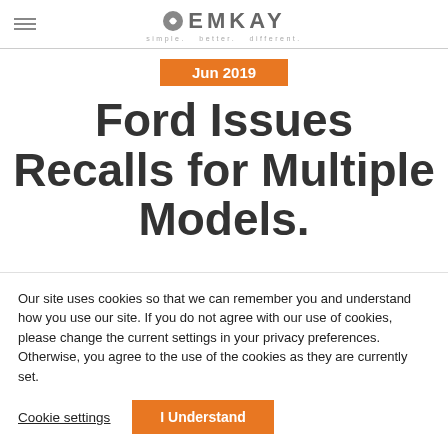EMKAY simple. better. different.
Jun 2019
Ford Issues Recalls for Multiple Models.
Our site uses cookies so that we can remember you and understand how you use our site. If you do not agree with our use of cookies, please change the current settings in your privacy preferences. Otherwise, you agree to the use of the cookies as they are currently set.
Cookie settings   I Understand